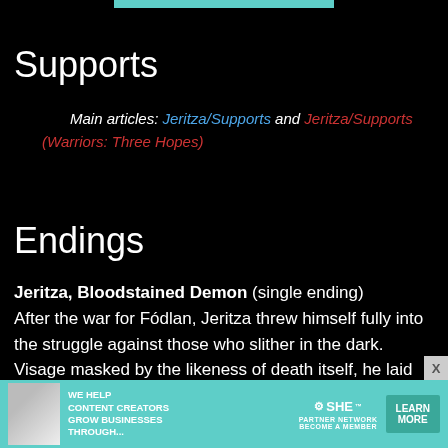Supports
Main articles: Jeritza/Supports and Jeritza/Supports (Warriors: Three Hopes)
Endings
Jeritza, Bloodstained Demon (single ending)
After the war for Fódlan, Jeritza threw himself fully into the struggle against those who slither in the dark. Visage masked by the likeness of death itself, he laid waste to his enemies with a scythe that terrified friend and for alike. When it was all over, he stole away in secret and vanished without a trace. His whereabouts thereafter have been the subject of much conjecture.
[Figure (infographic): SHE Partner Network advertisement banner at bottom of page]